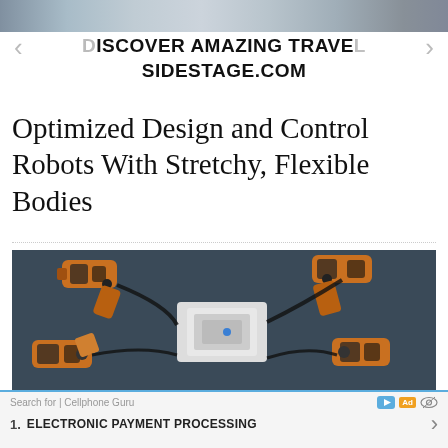[Figure (other): Advertisement banner for Sidestage.com travel website. Shows a landscape photo strip at top with left/right navigation arrows. Text reads 'DISCOVER AMAZING TRAVEL SIDESTAGE.COM' in bold.]
Optimized Design and Control Robots With Stretchy, Flexible Bodies
[Figure (photo): Overhead photograph showing robotic arms or mechanical grippers (orange/yellow colored) manipulating a small white/grey object on a dark surface.]
SCIENCE
New Algorithm Lets Robots Autonomously Plan for Tasks
Search for | Cellphone Guru   [Ad]   1. ELECTRONIC PAYMENT PROCESSING